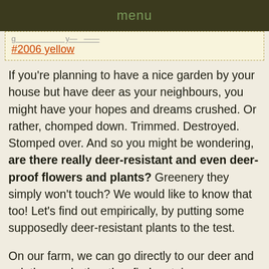menu
#2006 yellow
If you're planning to have a nice garden by your house but have deer as your neighbours, you might have your hopes and dreams crushed. Or rather, chomped down. Trimmed. Destroyed. Stomped over. And so you might be wondering, are there really deer-resistant and even deer-proof flowers and plants? Greenery they simply won't touch? We would like to know that too! Let's find out empirically, by putting some supposedly deer-resistant plants to the test.
On our farm, we can go directly to our deer and ask them, whether they find certain